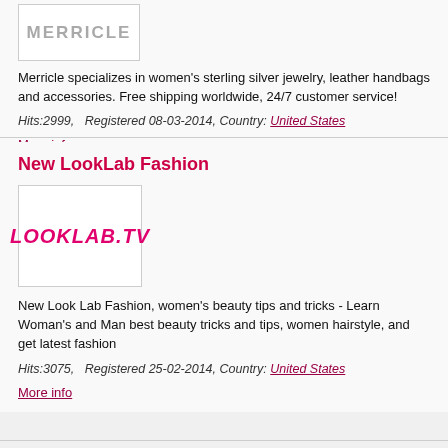[Figure (logo): Merricle logo — stylized text, partially clipped at top]
Merricle specializes in women's sterling silver jewelry, leather handbags and accessories. Free shipping worldwide, 24/7 customer service!
Hits:2999,   Registered 08-03-2014, Country: United States
More info
New LookLab Fashion
[Figure (logo): LOOKLAB.TV logo in bold italic magenta/pink text]
New Look Lab Fashion, women's beauty tips and tricks - Learn Woman's and Man best beauty tricks and tips, women hairstyle, and get latest fashion
Hits:3075,   Registered 25-02-2014, Country: United States
More info